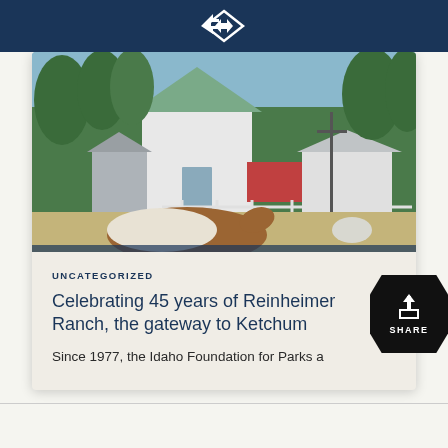[Figure (photo): Farm scene with white barn buildings, green-roofed structure on left, horses in foreground (brown and white), fenced pasture, and tall evergreen trees in background under blue sky]
UNCATEGORIZED
Celebrating 45 years of Reinheimer Ranch, the gateway to Ketchum
Since 1977, the Idaho Foundation for Parks a